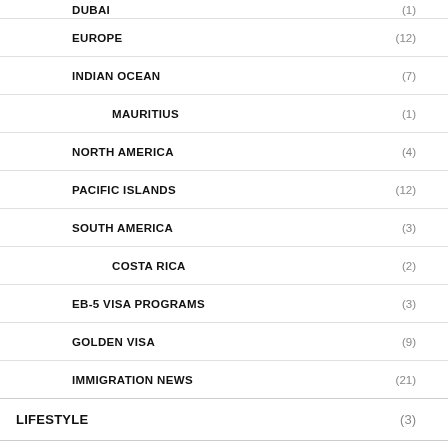DUBAI (1)
EUROPE (12)
INDIAN OCEAN (7)
MAURITIUS (1)
NORTH AMERICA (4)
PACIFIC ISLANDS (12)
SOUTH AMERICA (3)
COSTA RICA (2)
EB-5 VISA PROGRAMS (3)
GOLDEN VISA (9)
IMMIGRATION NEWS (21)
LIFESTYLE (3)
PROPERTY GUIDE (509)
CONSTRUCTION GUIDE (19)
LEGALITIES & FINANCING (71)